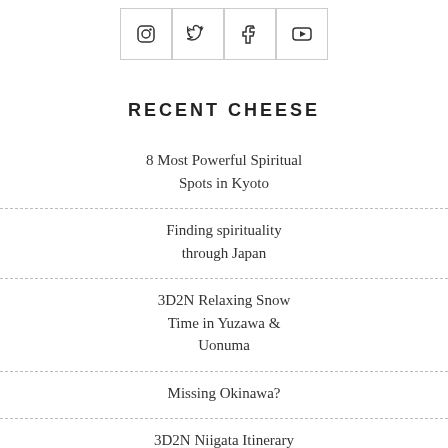[Figure (other): Row of four social media icon buttons (Instagram, Twitter, Facebook, YouTube) in bordered boxes]
RECENT CHEESE
8 Most Powerful Spiritual Spots in Kyoto
Finding spirituality through Japan
3D2N Relaxing Snow Time in Yuzawa & Uonuma
Missing Okinawa?
3D2N Niigata Itinerary for an Autumn Drive